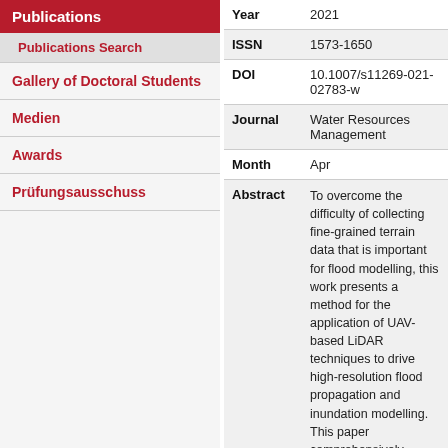Publications
Publications Search
Gallery of Doctoral Students
Medien
Awards
Prüfungsausschuss
| Field | Value |
| --- | --- |
| Year | 2021 |
| ISSN | 1573-1650 |
| DOI | 10.1007/s11269-021-02783-w |
| Journal | Water Resources Management |
| Month | Apr |
| Abstract | To overcome the difficulty of collecting fine-grained terrain data that is important for flood modelling, this work presents a method for the application of UAV-based LiDAR techniques to drive high-resolution flood propagation and inundation modelling. This paper comprehensively introduces the UAV platform, LiDAR sensor and data processing techniques required and proposes the approach for obtaining refined DEM for flood management using which the DEM accuracy can reach +/- cm. Accordingly, two kinds of terrains, a small mountain area and a |